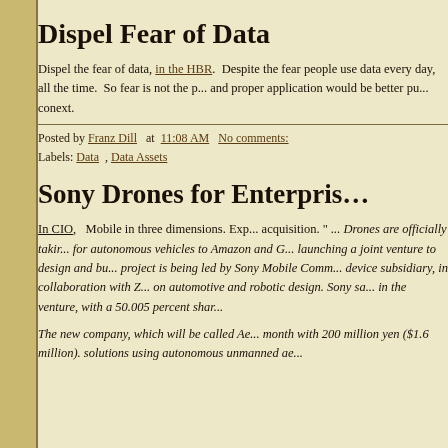Dispel Fear of Data
Dispel the fear of data, in the HBR.  Despite the fear people use data every day, all the time.  So fear is not the problem but education and proper application would be better pursued in that conext.
Posted by Franz Dill   at  11:08 AM   No comments:
Labels:  Data  ,  Data Assets
Sony Drones for Enterprise
In CIO,  Mobile in three dimensions. Expanding into drone acquisition. " ... Drones are officially taking to the skies, joining the path for autonomous vehicles to Amazon and Google, with Sony now launching a joint venture to design and build drones. The project is being led by Sony Mobile Communications, its mobile device subsidiary, in collaboration with ZMP, a startup focused on automotive and robotic design. Sony said it will take the lead in the venture, with a 50.005 percent share...
The new company, which will be called Ae... launched next month with 200 million yen ($1.6 million). It will develop solutions using autonomous unmanned ae...